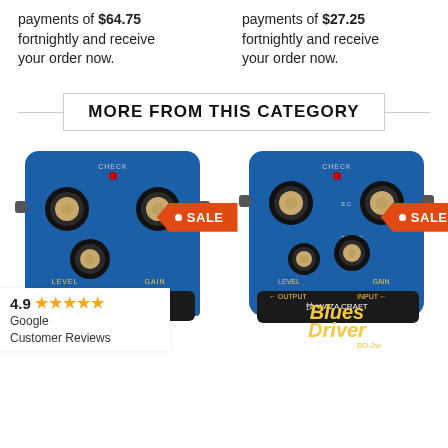payments of $64.75 fortnightly and receive your order now.
payments of $27.25 fortnightly and receive your order now.
MORE FROM THIS CATEGORY
[Figure (photo): BOSS Blues Driver BD-2 guitar effects pedal in blue with SALE badge]
[Figure (photo): BOSS Blues Driver BD-2w Waza Craft guitar effects pedal in blue with SALE badge]
4.9 ★★★★★ Google Customer Reviews